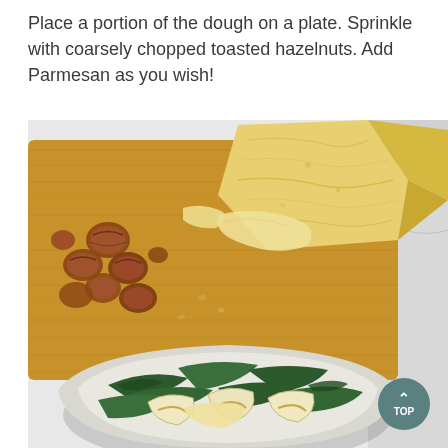Place a portion of the dough on a plate. Sprinkle with coarsely chopped toasted hazelnuts. Add Parmesan as you wish!
[Figure (photo): Overhead food photography showing a wooden cutting board with toasted hazelnuts scattered on the left, a large block of Parmesan cheese and shaved Parmesan flakes on top, and a white bowl in the foreground filled with tortellini pasta, dark leafy greens (likely spinach or kale), and shaved Parmesan. The background surface is white/marble. A teal 'TOP' navigation button is visible in the bottom right corner.]